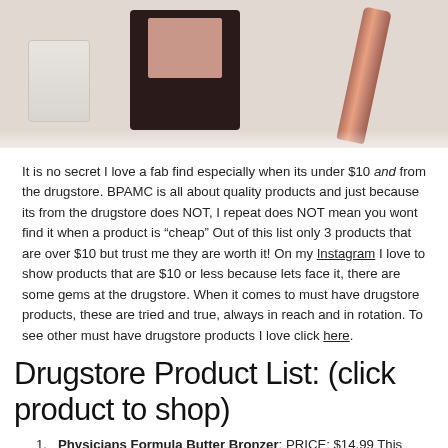[Figure (photo): Flat lay photo of makeup products including a dark square compact, a rose gold cylindrical product, and a glass jar on a white/beige background]
It is no secret I love a fab find especially when its under $10 and from the drugstore. BPAMC is all about quality products and just because its from the drugstore does NOT, I repeat does NOT mean you wont find it when a product is “cheap” Out of this list only 3 products that are over $10 but trust me they are worth it! On my Instagram I love to show products that are $10 or less because lets face it, there are some gems at the drugstore. When it comes to must have drugstore products, these are tried and true, always in reach and in rotation. To see other must have drugstore products I love click here.
Drugstore Product List: (click product to shop)
Physicians Formula Butter Bronzer: PRICE: $14.99 This bronzer is making the list again for me because that is HOW